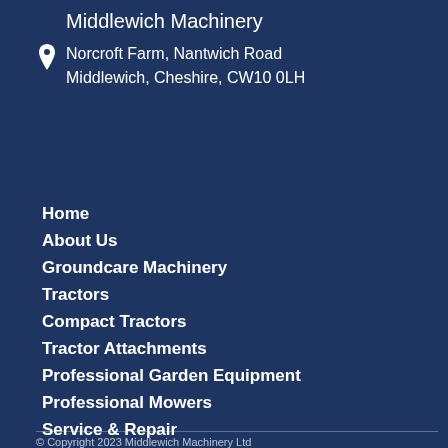Middlewich Machinery
Norcroft Farm, Nantwich Road
Middlewich, Cheshire, CW10 0LH
Home
About Us
Groundcare Machinery
Tractors
Compact Tractors
Tractor Attachments
Professional Garden Equipment
Professional Mowers
Service & Repair
Services Areas
© Copyright 2023 Middlewich Machinery Ltd